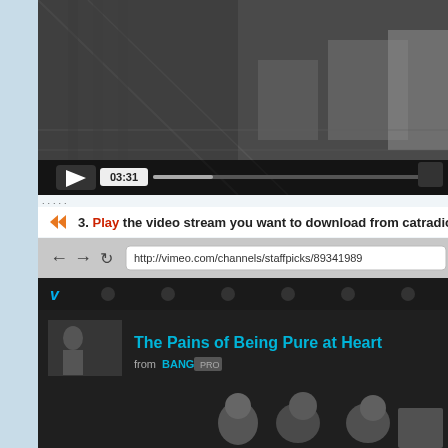[Figure (screenshot): Video player screenshot showing a black and white video with play button and timestamp 03:31]
3. Play the video stream you want to download from catradio.cat. Play it La
[Figure (screenshot): Browser screenshot showing Vimeo page with URL http://vimeo.com/channels/staffpicks/89341989 and video titled 'The Pains of Being Pure at Heart' from BANGS PRO]